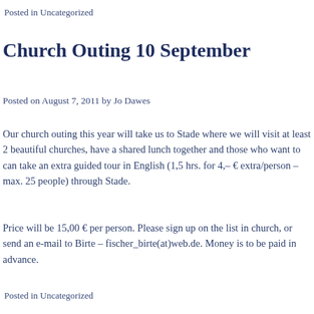Posted in Uncategorized
Church Outing 10 September
Posted on August 7, 2011 by Jo Dawes
Our church outing this year will take us to Stade where we will visit at least 2 beautiful churches, have a shared lunch together and those who want to can take an extra guided tour in English (1,5 hrs. for 4,– € extra/person – max. 25 people) through Stade.
Price will be 15,00 € per person. Please sign up on the list in church, or send an e-mail to Birte – fischer_birte(at)web.de. Money is to be paid in advance.
Posted in Uncategorized